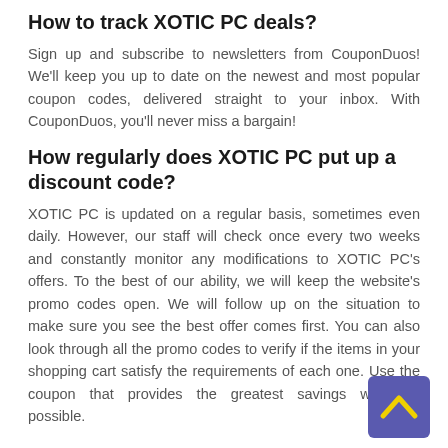How to track XOTIC PC deals?
Sign up and subscribe to newsletters from CouponDuos! We'll keep you up to date on the newest and most popular coupon codes, delivered straight to your inbox. With CouponDuos, you'll never miss a bargain!
How regularly does XOTIC PC put up a discount code?
XOTIC PC is updated on a regular basis, sometimes even daily. However, our staff will check once every two weeks and constantly monitor any modifications to XOTIC PC's offers. To the best of our ability, we will keep the website's promo codes open. We will follow up on the situation to make sure you see the best offer comes first. You can also look through all the promo codes to verify if the items in your shopping cart satisfy the requirements of each one. Use the coupon that provides the greatest savings wherever possible.